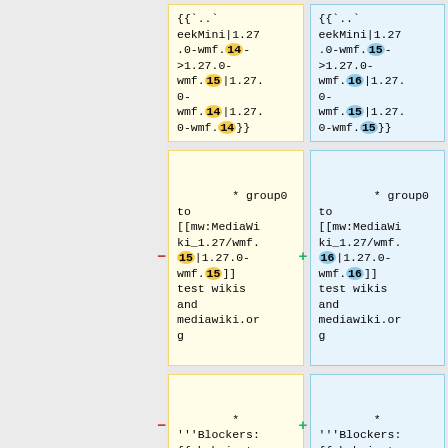{{...eekMini|1.27.0-wmf.14->1.27.0-wmf.15|1.27.0-wmf.14|1.27.0-wmf.14}}
{{...eekMini|1.27.0-wmf.15->1.27.0-wmf.16|1.27.0-wmf.15|1.27.0-wmf.15}}
* group0 to [[mw:MediaWiki_1.27/wmf.15|1.27.0-wmf.15]] test wikis and mediawiki.org
* group0 to [[mw:MediaWiki_1.27/wmf.16|1.27.0-wmf.16]] test wikis and mediawiki.org
* '''Blockers: {{phabricato
* '''Blockers: {{phabricato